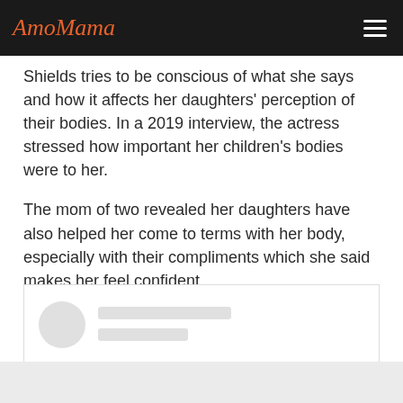AmoMama
Shields tries to be conscious of what she says and how it affects her daughters' perception of their bodies. In a 2019 interview, the actress stressed how important her children's bodies were to her.
The mom of two revealed her daughters have also helped her come to terms with her body, especially with their compliments which she said makes her feel confident.
[Figure (other): Loading placeholder card with avatar circle and two gray placeholder lines]